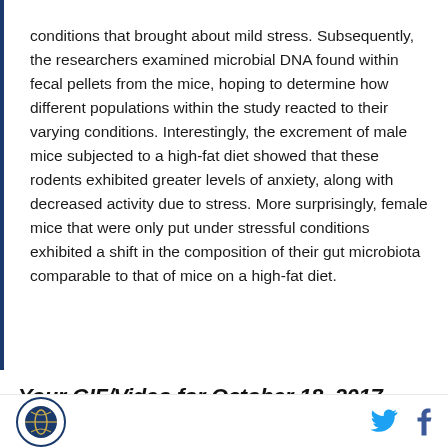conditions that brought about mild stress. Subsequently, the researchers examined microbial DNA found within fecal pellets from the mice, hoping to determine how different populations within the study reacted to their varying conditions. Interestingly, the excrement of male mice subjected to a high-fat diet showed that these rodents exhibited greater levels of anxiety, along with decreased activity due to stress. More surprisingly, female mice that were only put under stressful conditions exhibited a shift in the composition of their gut microbiota comparable to that of mice on a high-fat diet.
Your GIF/Video for October 18, 2017
[Figure (logo): Circular logo with basketball/sports icon in dark navy blue]